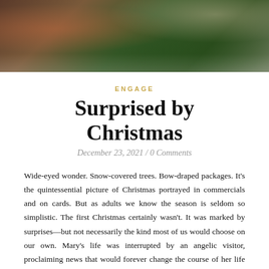[Figure (photo): A blurred Christmas scene showing a person in a red and white costume (likely Santa) near a green Christmas tree, dark and warm toned.]
ENGAGE
Surprised by Christmas
December 23, 2021 / 0 Comments
Wide-eyed wonder. Snow-covered trees. Bow-draped packages. It's the quintessential picture of Christmas portrayed in commercials and on cards. But as adults we know the season is seldom so simplistic. The first Christmas certainly wasn't. It was marked by surprises—but not necessarily the kind most of us would choose on our own. Mary's life was interrupted by an angelic visitor, proclaiming news that would forever change the course of her life and her position in history. Joseph found out his fiancé was expecting a child that wasn't his own, only to be